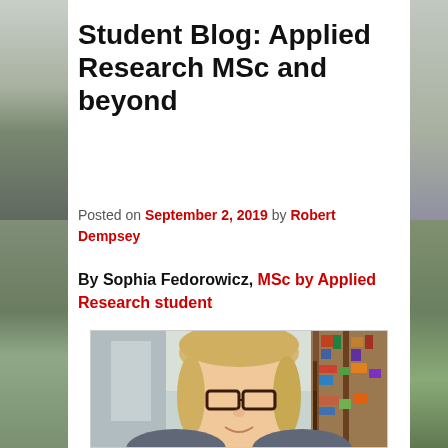Student Blog: Applied Research MSc and beyond
Posted on September 2, 2019 by Robert Dempsey
By Sophia Fedorowicz, MSc by Applied Research student
[Figure (photo): Portrait photo of Sophia Fedorowicz, a woman with blonde hair and glasses, seated in a library with bookshelves visible in the background.]